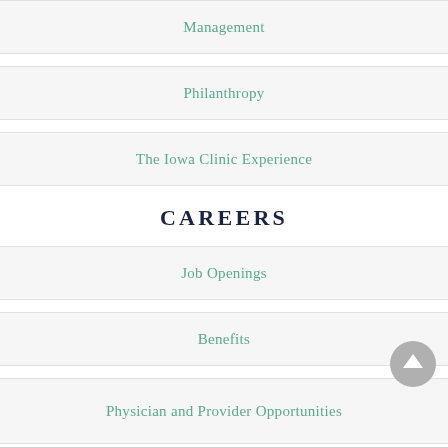Management
Philanthropy
The Iowa Clinic Experience
CAREERS
Job Openings
Benefits
Physician and Provider Opportunities